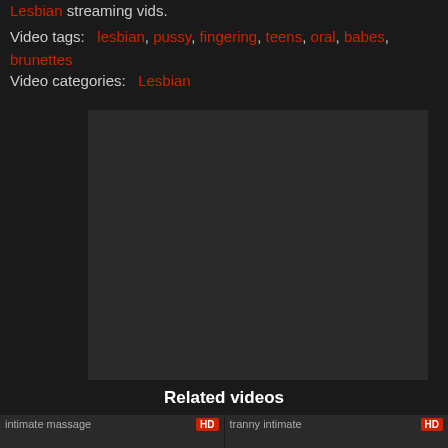Lesbian streaming vids.
Video tags: lesbian, pussy, fingering, teens, oral, babes, brunettes
Video categories: Lesbian
[Figure (other): Embedded video player area, dark background]
Related videos
[Figure (other): Thumbnail: intimate massage, HD badge]
[Figure (other): Thumbnail: tranny intimate, HD badge]